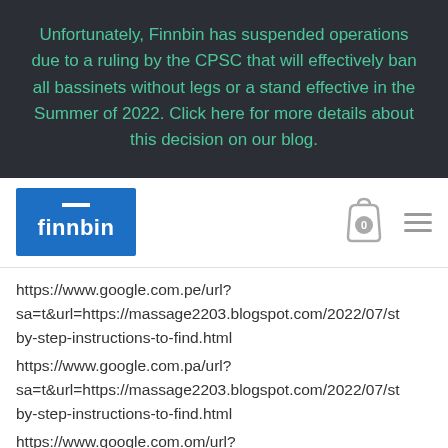Unfortunately, Finnbin has suspended operations due to a ruling by the CPSC that will effectively ban all bassinets without legs or a stand effective in the Summer of 2022. Click here for more details about this decision on our blog.
[Figure (logo): Finnbin logo: blue rectangle with white dash and white text 'finnbin', alongside a shopping cart icon showing 0 items and a hamburger menu icon]
https://www.google.com.pe/url? sa=t&url=https://massage2203.blogspot.com/2022/07/st by-step-instructions-to-find.html https://www.google.com.pa/url? sa=t&url=https://massage2203.blogspot.com/2022/07/st by-step-instructions-to-find.html https://www.google.com.om/url? sa=t&url=https://massage2203.blogspot.com/2022/07/s